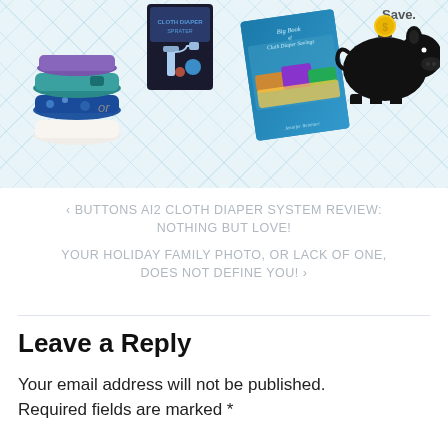[Figure (photo): Collage of cloth diaper products: a stack of colorful cloth diapers on the left with 'or' text, a cloth diaper sprayer product box top center-left, a tilted book 'Big Book of Cloth Diaper Savings by Jennifer Reinhart' in center, and a black piggy bank with gold coin top right, all on a light blue diamond-pattern background.]
‹ BUTTONS AI2 CLOTH DIAPER SYSTEM REVIEW: NOTHING BUT LOVE!
YOUR HOLIDAY FAMILY PHOTO, OR LACK OF ONE, DOES NOT DEFINE YOU! ›
Leave a Reply
Your email address will not be published. Required fields are marked *